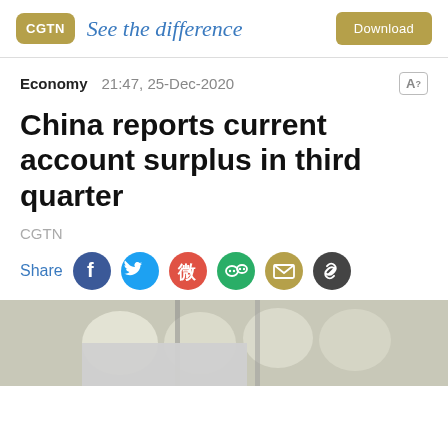CGTN — See the difference — Download
Economy  21:47, 25-Dec-2020
China reports current account surplus in third quarter
CGTN
Share
[Figure (photo): Blurred photo of abacus beads or eggs, serves as article header image with gray overlay in bottom-left corner]